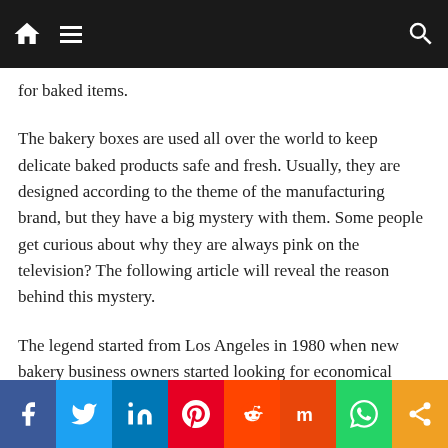Navigation bar with home, menu, and search icons
for baked items.
The bakery boxes are used all over the world to keep delicate baked products safe and fresh. Usually, they are designed according to the theme of the manufacturing brand, but they have a big mystery with them. Some people get curious about why they are always pink on the television? The following article will reveal the reason behind this mystery.
The legend started from Los Angeles in 1980 when new bakery business owners started looking for economical custom bakery boxes. They searched the packaging industry for a while and found that the pink cartons are cheaper than the white, and they can hold
Social share bar: Facebook, Twitter, LinkedIn, Pinterest, Reddit, Mix, WhatsApp, Share